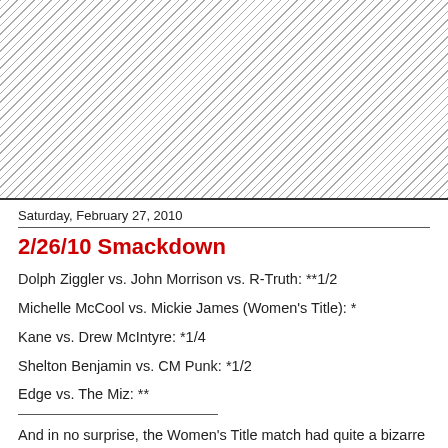[Figure (other): Hatched/diagonal striped pattern background at top of page]
Saturday, February 27, 2010
2/26/10 Smackdown
Dolph Ziggler vs. John Morrison vs. R-Truth: **1/2
Michelle McCool vs. Mickie James (Women's Title): *
Kane vs. Drew McIntyre: *1/4
Shelton Benjamin vs. CM Punk: *1/2
Edge vs. The Miz: **
And in no surprise, the Women's Title match had quite a bizarre finish. While it had no real botches and was